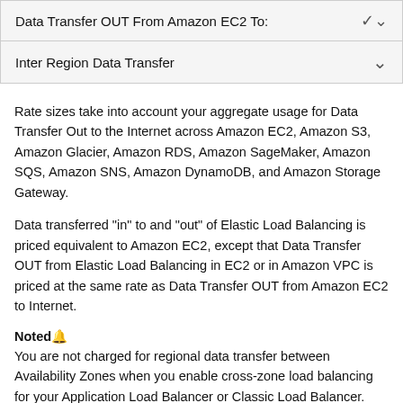Data Transfer OUT From Amazon EC2 To:
Inter Region Data Transfer
Rate sizes take into account your aggregate usage for Data Transfer Out to the Internet across Amazon EC2, Amazon S3, Amazon Glacier, Amazon RDS, Amazon SageMaker, Amazon SQS, Amazon SNS, Amazon DynamoDB, and Amazon Storage Gateway.
Data transferred "in" to and "out" of Elastic Load Balancing is priced equivalent to Amazon EC2, except that Data Transfer OUT from Elastic Load Balancing in EC2 or in Amazon VPC is priced at the same rate as Data Transfer OUT from Amazon EC2 to Internet.
Noted🔔
You are not charged for regional data transfer between Availability Zones when you enable cross-zone load balancing for your Application Load Balancer or Classic Load Balancer. You will be charged for data transfer between Availability Zones with Network Load Balancer or Gateway Load Balancer when cross-zone load